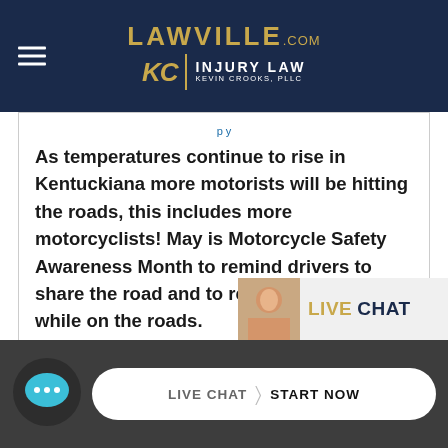[Figure (logo): LawVille.com KC Injury Law Kevin Crooks PLLC logo on dark navy header with hamburger menu]
As temperatures continue to rise in Kentuckiana more motorists will be hitting the roads, this includes more motorcyclists! May is Motorcycle Safety Awareness Month to remind drivers to share the road and to remain focused while on the roads.
read more
[Figure (photo): Smiling woman with brown hair for live chat widget, partially visible]
LIVE CHAT
LIVE CHAT START NOW